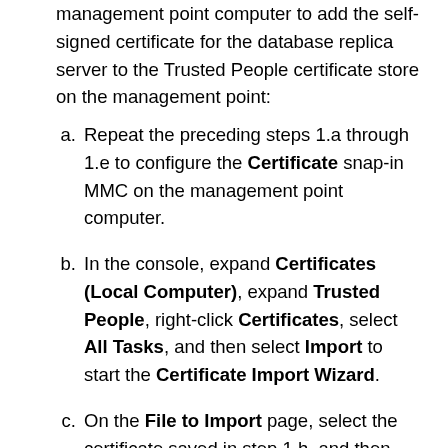management point computer to add the self-signed certificate for the database replica server to the Trusted People certificate store on the management point:
a. Repeat the preceding steps 1.a through 1.e to configure the Certificate snap-in MMC on the management point computer.
b. In the console, expand Certificates (Local Computer), expand Trusted People, right-click Certificates, select All Tasks, and then select Import to start the Certificate Import Wizard.
c. On the File to Import page, select the certificate saved in step 1.h, and then